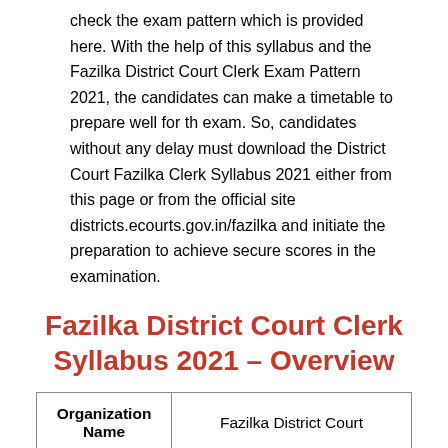check the exam pattern which is provided here. With the help of this syllabus and the Fazilka District Court Clerk Exam Pattern 2021, the candidates can make a timetable to prepare well for th exam. So, candidates without any delay must download the District Court Fazilka Clerk Syllabus 2021 either from this page or from the official site districts.ecourts.gov.in/fazilka and initiate the preparation to achieve secure scores in the examination.
Fazilka District Court Clerk Syllabus 2021 – Overview
| Organization Name |  |
| --- | --- |
| Organization Name | Fazilka District Court |